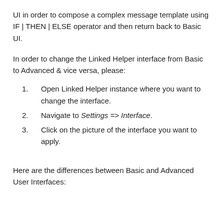UI in order to compose a complex message template using IF | THEN | ELSE operator and then return back to Basic UI.
In order to change the Linked Helper interface from Basic to Advanced & vice versa, please:
Open Linked Helper instance where you want to change the interface.
Navigate to Settings => Interface.
Click on the picture of the interface you want to apply.
Here are the differences between Basic and Advanced User Interfaces: